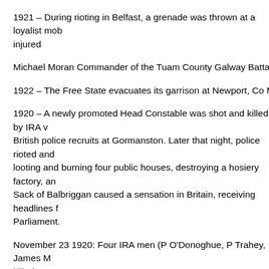1921 – During rioting in Belfast, a grenade was thrown at a loyalist mob injured
Michael Moran Commander of the Tuam County Galway Battalion of th
1922 – The Free State evacuates its garrison at Newport, Co Mayo due
1920 – A newly promoted Head Constable was shot and killed by IRA v British police recruits at Gormanston. Later that night, police rioted and looting and burning four public houses, destroying a hosiery factory, an Sack of Balbriggan caused a sensation in Britain, receiving headlines f Parliament.
November 23 1920: Four IRA men (P O'Donoghue, P Trahey, James M killed.
1920 - Three IRA men (Lt. Michael Glavey, Vol Pat Glynn, Vol Michael Roscommon.
September 01, 1920
Ambush by 6th Battalion, Cork No. 1 Brigade on British forces at Innisc
Five RIC men on bicycles were attacked at Rathmacross, Co. Roscom two policemen (Constables Edward Murphy and Martin McCarthy) and